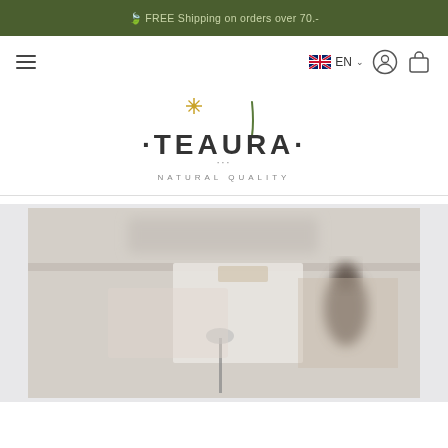🍃 FREE Shipping on orders over 70.-
[Figure (logo): Navigation bar with hamburger menu, EN language selector with UK flag, login icon, and shopping bag icon]
[Figure (logo): TEAURA · Natural Quality logo with decorative sun/sparkle element and stylized lettering]
[Figure (photo): Blurred interior photo showing a tea shop or cafe setting with shelves and a dark silhouette figure in the background]